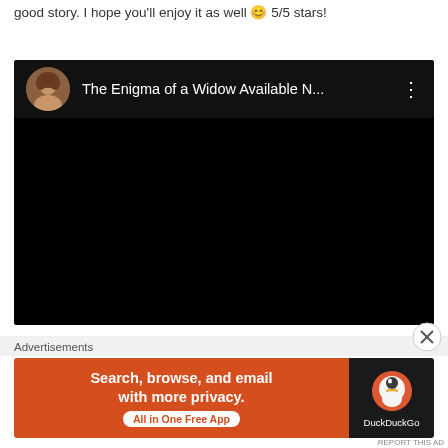good story. I hope you'll enjoy it as well 😊 5/5 stars!
[Figure (screenshot): Embedded video player with dark background showing title 'The Enigma of a Widow Available N...' with a female avatar photo on the left and three-dot menu icon on the right]
Advertisements
[Figure (screenshot): DuckDuckGo advertisement banner: left side orange background with text 'Search, browse, and email with more privacy. All in One Free App', right side dark background with DuckDuckGo duck logo and 'DuckDuckGo' text]